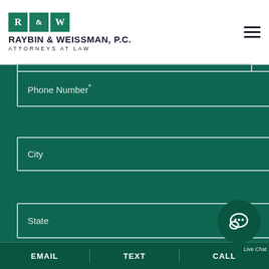[Figure (logo): Raybin & Weissman P.C. law firm logo with R&W green boxes and firm name]
Phone Number*
City
State
Tell us about your case*
EMAIL
TEXT
CALL